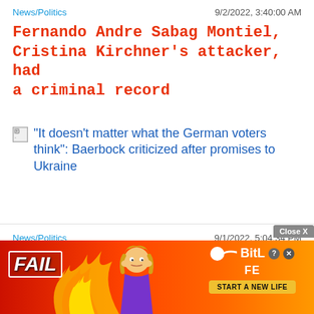News/Politics | 9/2/2022, 3:40:00 AM
Fernando Andre Sabag Montiel, Cristina Kirchner's attacker, had a criminal record
[Figure (other): Broken image thumbnail followed by article link: "It doesn't matter what the German voters think": Baerbock criticized after promises to Ukraine]
News/Politics | 9/1/2022, 5:04:34 PM
"It doesn't matter what the German voters think": Baerbock criticized after promises to Ukraine
[Figure (other): Advertisement overlay: BitLife - Start A New Life, with FAIL label, animated character, and flames. Close X button visible.]